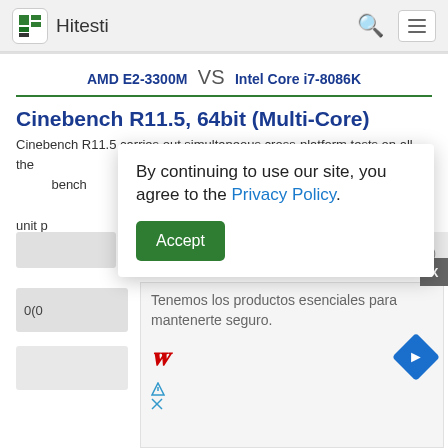Hitesti
AMD E2-3300M VS Intel Core i7-8086K
Cinebench R11.5, 64bit (Multi-Core)
Cinebench R11.5 carries out simultaneous cross-platform tests on all the … bench … le-unit p…
By continuing to use our site, you agree to the Privacy Policy.
Accept
2x 1.60 GHz (2.20 GHz)
0(0…
Tenemos los productos esenciales para mantenerte seguro.